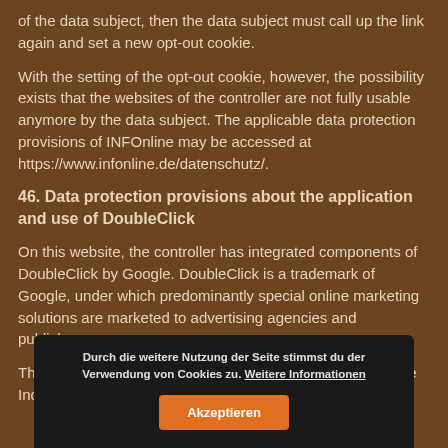of the data subject, then the data subject must call up the link again and set a new opt-out cookie.
With the setting of the opt-out cookie, however, the possibility exists that the websites of the controller are not fully usable anymore by the data subject. The applicable data protection provisions of INFOnline may be accessed at https://www.infonline.de/datenschutz/.
46. Data protection provisions about the application and use of DoubleClick
On this website, the controller has integrated components of DoubleClick by Google. DoubleClick is a trademark of Google, under which predominantly special online marketing solutions are marketed to advertising agencies and publishers.
The operating company of DoubleClick by Google is Google Inc., 1600 Amphitheatre Pkwy, Mountain View, CA 94043-
Durch die weitere Nutzung der Seite stimmst du der Verwendung von Cookies zu. Weitere Informationen
Akzeptieren